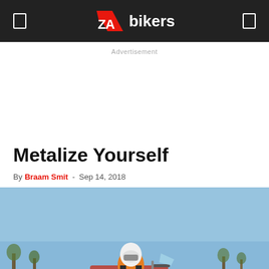ZA bikers
Advertisement
Metalize Yourself
By Braam Smit - Sep 14, 2018
[Figure (photo): A motorcyclist in an orange and black riding jacket and white helmet sitting on a red dirt bike against a clear blue sky with sparse trees in the background.]